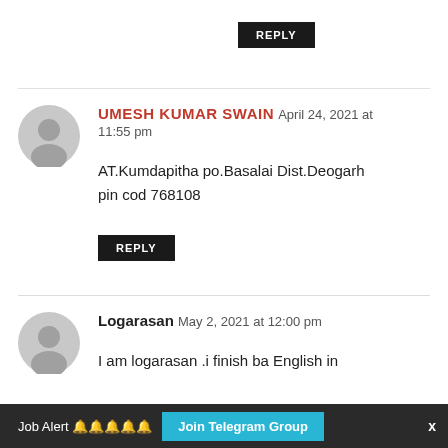REPLY
UMESH KUMAR SWAIN  April 24, 2021 at 11:55 pm
AT.Kumdapitha po.Basalai Dist.Deogarh pin cod 768108
REPLY
Logarasan  May 2, 2021 at 12:00 pm
I am logarasan .i finish ba English in
Job Alert 🔔🔔🔔🔔🔔  Join Telegram Group  x